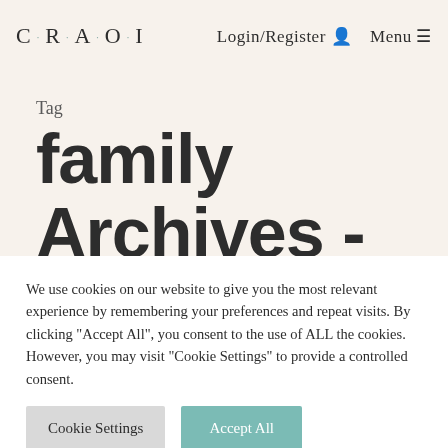C·R·A·O·I   Login/Register   Menu
Tag
family Archives - CRAOI
We use cookies on our website to give you the most relevant experience by remembering your preferences and repeat visits. By clicking "Accept All", you consent to the use of ALL the cookies. However, you may visit "Cookie Settings" to provide a controlled consent.
Cookie Settings   Accept All